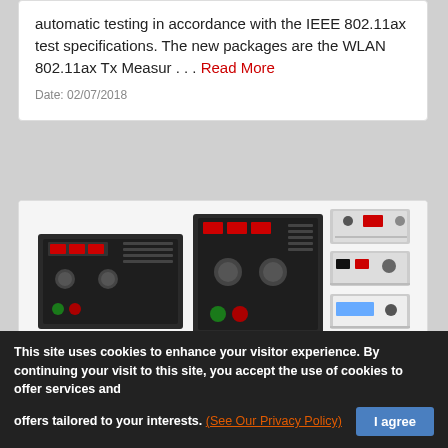automatic testing in accordance with the IEEE 802.11ax test specifications. The new packages are the WLAN 802.11ax Tx Measur . . . Read More
Date: 02/07/2018
[Figure (photo): Multiple AC power supply units from Powerstax, showing rack-mount and desktop form factors with front panels featuring indicator lights and controls]
Short lead-times for custom or configured AC power supplies from Powerstax
This site uses cookies to enhance your visitor experience. By continuing your visit to this site, you accept the use of cookies to offer services and offers tailored to your interests. (See Our Privacy Policy)